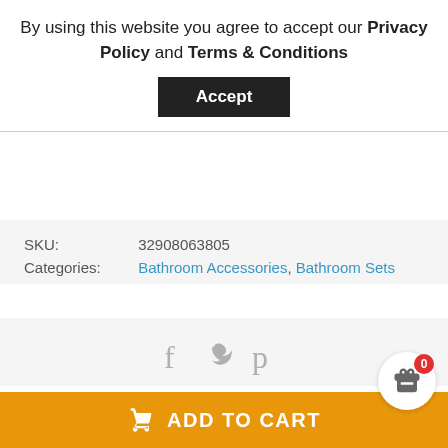By using this website you agree to accept our Privacy Policy and Terms & Conditions
Accept
SKU:   32908063805
Categories:   Bathroom Accessories, Bathroom Sets
[Figure (infographic): Social sharing icons: Facebook, Twitter, Pinterest in grey]
Product details
Silicone Suckers Kitchen Bathroom Sink Accessories For Bathroom Sucker
ADD TO CART